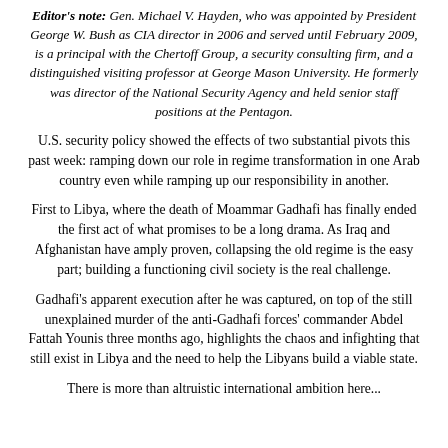Editor's note: Gen. Michael V. Hayden, who was appointed by President George W. Bush as CIA director in 2006 and served until February 2009, is a principal with the Chertoff Group, a security consulting firm, and a distinguished visiting professor at George Mason University. He formerly was director of the National Security Agency and held senior staff positions at the Pentagon.
U.S. security policy showed the effects of two substantial pivots this past week: ramping down our role in regime transformation in one Arab country even while ramping up our responsibility in another.
First to Libya, where the death of Moammar Gadhafi has finally ended the first act of what promises to be a long drama. As Iraq and Afghanistan have amply proven, collapsing the old regime is the easy part; building a functioning civil society is the real challenge.
Gadhafi's apparent execution after he was captured, on top of the still unexplained murder of the anti-Gadhafi forces' commander Abdel Fattah Younis three months ago, highlights the chaos and infighting that still exist in Libya and the need to help the Libyans build a viable state.
There is more than altruistic international ambition here...